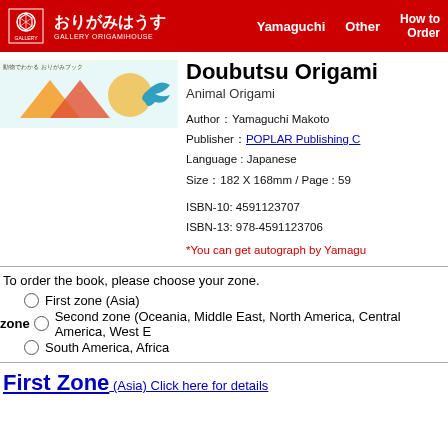おりがみはうす GALLERY ORIGAMIHOUSE | Yamaguchi | Other | How to Order
[Figure (illustration): Colorful book cover banner for Doubutsu Origami featuring origami shapes]
Doubutsu Origami
Animal Origami
Author：Yamaguchi Makoto
Publisher：POPLAR Publishing C
Language : Japanese
Size：182 X 168mm / Page : 59
ISBN-10: 4591123707
ISBN-13: 978-4591123706
*You can get autograph by Yamagu
To order the book, please choose your zone.
First zone (Asia)
Second zone (Oceania, Middle East, North America, Central America, West ...
South America, Africa
First Zone (Asia) Click here for details